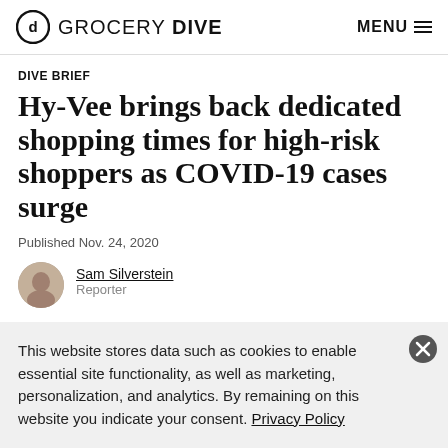GROCERY DIVE  MENU
DIVE BRIEF
Hy-Vee brings back dedicated shopping times for high-risk shoppers as COVID-19 cases surge
Published Nov. 24, 2020
Sam Silverstein
Reporter
This website stores data such as cookies to enable essential site functionality, as well as marketing, personalization, and analytics. By remaining on this website you indicate your consent. Privacy Policy